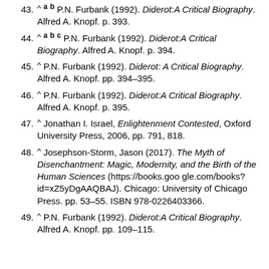43. ^ a b P.N. Furbank (1992). Diderot:A Critical Biography. Alfred A. Knopf. p. 393.
44. ^ a b c P.N. Furbank (1992). Diderot:A Critical Biography. Alfred A. Knopf. p. 394.
45. ^ P.N. Furbank (1992). Diderot: A Critical Biography. Alfred A. Knopf. pp. 394–395.
46. ^ P.N. Furbank (1992). Diderot:A Critical Biography. Alfred A. Knopf. p. 395.
47. ^ Jonathan I. Israel, Enlightenment Contested, Oxford University Press, 2006, pp. 791, 818.
48. ^ Josephson-Storm, Jason (2017). The Myth of Disenchantment: Magic, Modernity, and the Birth of the Human Sciences (https://books.google.com/books?id=xZ5yDgAAQBAJ). Chicago: University of Chicago Press. pp. 53–55. ISBN 978-0226403366.
49. ^ P.N. Furbank (1992). Diderot:A Critical Biography. Alfred A. Knopf. pp. 109–115.